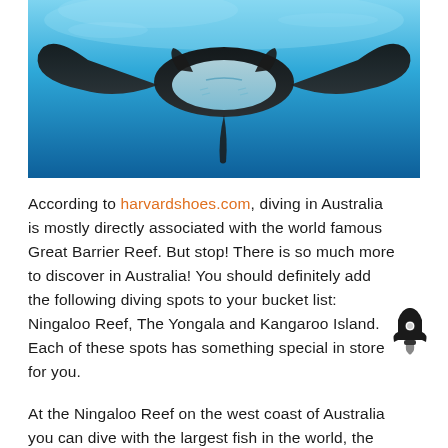[Figure (photo): Underwater photo of a manta ray swimming in blue ocean water, viewed from below against a bright blue background.]
According to harvardshoes.com, diving in Australia is mostly directly associated with the world famous Great Barrier Reef. But stop! There is so much more to discover in Australia! You should definitely add the following diving spots to your bucket list: Ningaloo Reef, The Yongala and Kangaroo Island. Each of these spots has something special in store for you.
At the Ningaloo Reef on the west coast of Australia you can dive with the largest fish in the world, the